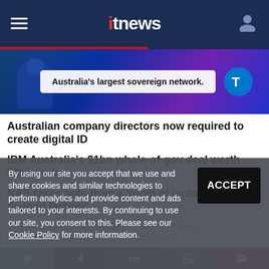itnews
[Figure (photo): Advertisement banner: Australia's largest sovereign network. Telstra logo on blue/purple gradient background with person at computer.]
Australian company directors now required to create digital ID
IBM Australia's $1bn whole-of-gov deal worth $2bn so far
NAB takes bots from a 'room of laptops' to 'full-fledged factory'
By using our site you accept that we use and share cookies and similar technologies to perform analytics and provide content and ads tailored to your interests. By continuing to use our site, you consent to this. Please see our Cookie Policy for more information.